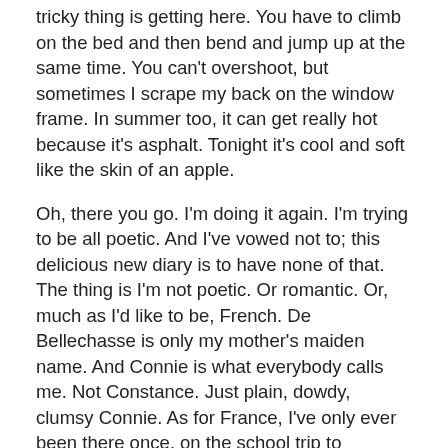tricky thing is getting here. You have to climb on the bed and then bend and jump up at the same time. You can't overshoot, but sometimes I scrape my back on the window frame. In summer too, it can get really hot because it's asphalt. Tonight it's cool and soft like the skin of an apple.
Oh, there you go. I'm doing it again. I'm trying to be all poetic. And I've vowed not to; this delicious new diary is to have none of that. The thing is I'm not poetic. Or romantic. Or, much as I'd like to be, French. De Bellechasse is only my mother's maiden name. And Connie is what everybody calls me. Not Constance. Just plain, dowdy, clumsy Connie. As for France, I've only ever been there once, on the school trip to Boulogne. And that was only for a day.
I'm Connie Pickles and that's that.
Or is it?
Because something BIG hit me this evening. I've been reading this book called The Blessing.